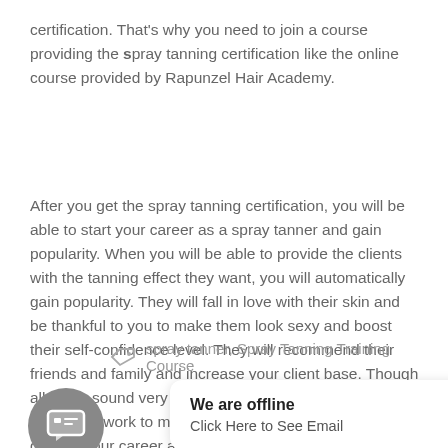certification. That's why you need to join a course providing the spray tanning certification like the online course provided by Rapunzel Hair Academy.
After you get the spray tanning certification, you will be able to start your career as a spray tanner and gain popularity. When you will be able to provide the clients with the tanning effect they want, you will automatically gain popularity. They will fall in love with their skin and be thankful to you to make them look sexy and boost their self-confidence level. They will recommend their friends and family and increase your client base. Though all these sound very easy, it is not. You have to put in a lot of hard work to make things work out and you can grow in your career as well
spray tanner, Spray Tanning Training Course
We are offline
Click Here to See Email